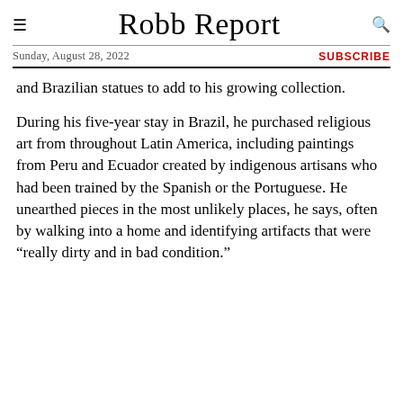Robb Report
Sunday, August 28, 2022 | SUBSCRIBE
and Brazilian statues to add to his growing collection.
During his five-year stay in Brazil, he purchased religious art from throughout Latin America, including paintings from Peru and Ecuador created by indigenous artisans who had been trained by the Spanish or the Portuguese. He unearthed pieces in the most unlikely places, he says, often by walking into a home and identifying artifacts that were “really dirty and in bad condition.”